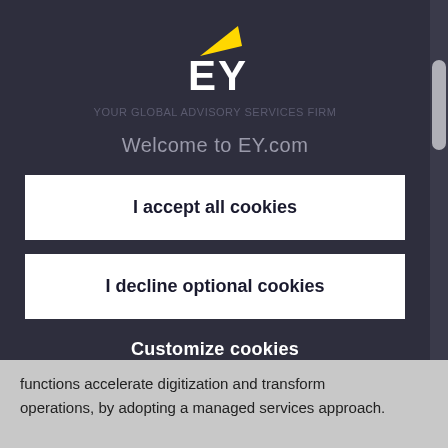[Figure (logo): EY logo with yellow triangular swoosh above bold white EY letters on dark background]
Welcome to EY.com
I accept all cookies
I decline optional cookies
Customize cookies
functions accelerate digitization and transform operations, by adopting a managed services approach.